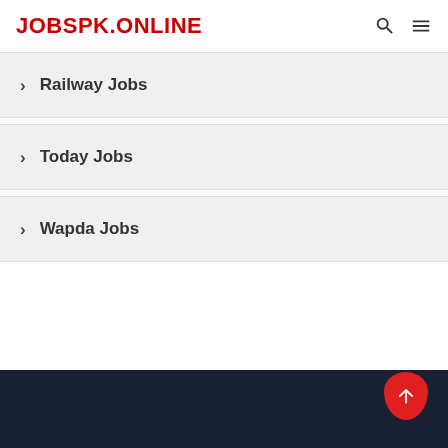JOBSPK.ONLINE
Railway Jobs
Today Jobs
Wapda Jobs
Footer - dark background with scroll-to-top button